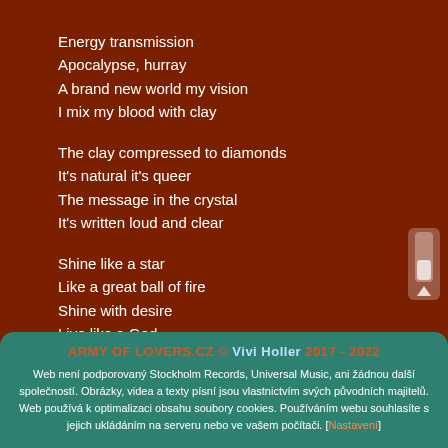Energy transmission
Apocalypse, hurray
A brand new world my vision
I mix my blood with clay
The clay compressed to diamonds
It's natural it's queer
The message in the crystal
It's written loud and clear
Shine like a star
Like a great ball of fire
Shine with desire
Live like a God
Shine like the sun
Raise your dreams for tomorrow
ARMY OF LOVERS.CZ © Vivi Holler 2017 - 2022
Web není podporovaný Stockholm Records, Universal Music, ani žádnou další společností. Obrázky, videa a texty písní jsou vlastnictvím svých původních majitelů. Web používá k optimalizaci obsahu soubory cookies. Používáním webu souhlasíte s jejich ukládáním na serveru nebo ve vašem počítači. [Nastavení]